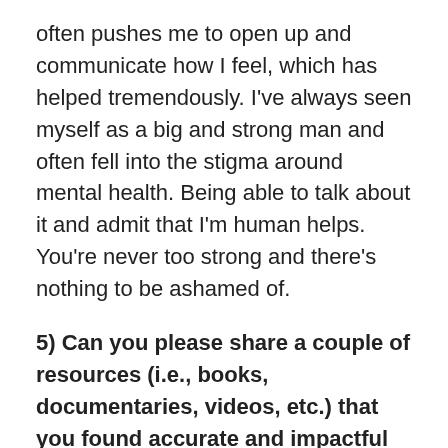often pushes me to open up and communicate how I feel, which has helped tremendously. I've always seen myself as a big and strong man and often fell into the stigma around mental health. Being able to talk about it and admit that I'm human helps. You're never too strong and there's nothing to be ashamed of.
5) Can you please share a couple of resources (i.e., books, documentaries, videos, etc.) that you found accurate and impactful in learning about or supporting your community?